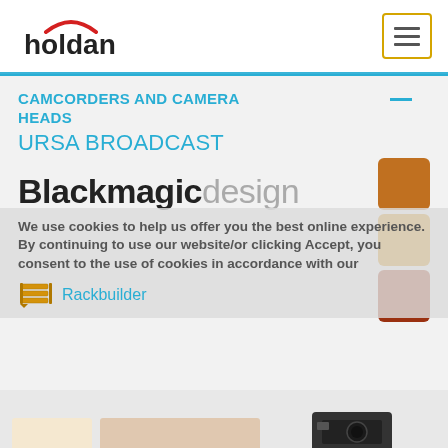[Figure (logo): Holdan company logo with red arc above text and hamburger menu button with gold border]
CAMCORDERS AND CAMERA HEADS
URSA BROADCAST
[Figure (logo): Blackmagicdesign logo in large text, black bold left portion and grey light right portion]
[Figure (illustration): Three orange/brown decorative squares stacked vertically on right side]
We use cookies to help us offer you the best online experience. By continuing to use our website/or clicking Accept, you consent to the use of cookies in accordance with our
[Figure (illustration): Rackbuilder icon with gold rack-unit graphic and Rackbuilder text in blue]
[Figure (photo): Bottom strip showing partial product image area with placeholder boxes and camera equipment]